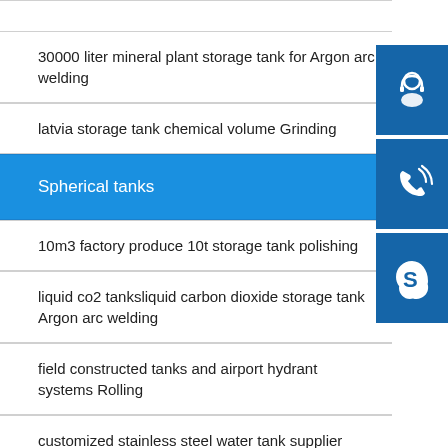30000 liter mineral plant storage tank for Argon arc welding
latvia storage tank chemical volume Grinding
Spherical tanks
10m3 factory produce 10t storage tank polishing
liquid co2 tanksliquid carbon dioxide storage tank Argon arc welding
field constructed tanks and airport hydrant systems Rolling
customized stainless steel water tank supplier